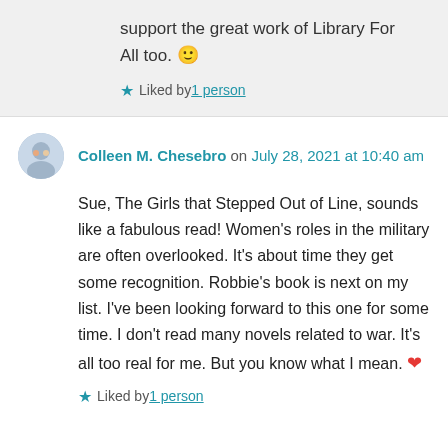support the great work of Library For All too. 🙂
★ Liked by 1 person
Colleen M. Chesebro on July 28, 2021 at 10:40 am
Sue, The Girls that Stepped Out of Line, sounds like a fabulous read! Women's roles in the military are often overlooked. It's about time they get some recognition. Robbie's book is next on my list. I've been looking forward to this one for some time. I don't read many novels related to war. It's all too real for me. But you know what I mean. ❤
★ Liked by 1 person